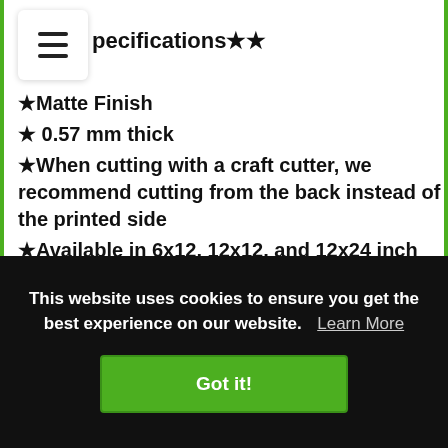pecifications★★
★Matte Finish
★ 0.57 mm thick
★When cutting with a craft cutter, we recommend cutting from the back instead of the printed side
★Available in 6x12, 12x12, and 12x24 inch sheets (Note that all sheets will have the same
This website uses cookies to ensure you get the best experience on our website. Learn More
Got it!